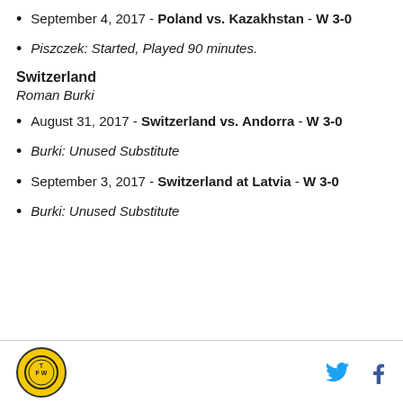September 4, 2017 - Poland vs. Kazakhstan - W 3-0
Piszczek: Started, Played 90 minutes.
Switzerland
Roman Burki
August 31, 2017 - Switzerland vs. Andorra - W 3-0
Burki: Unused Substitute
September 3, 2017 - Switzerland at Latvia - W 3-0
Burki: Unused Substitute
TFW logo | Twitter | Facebook